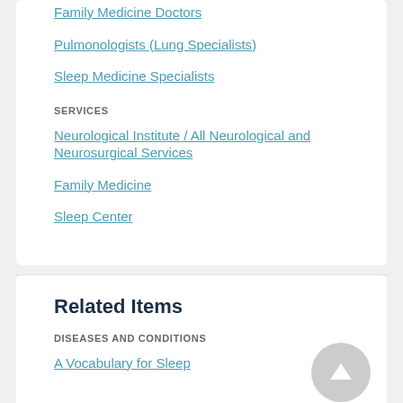Family Medicine Doctors
Pulmonologists (Lung Specialists)
Sleep Medicine Specialists
SERVICES
Neurological Institute / All Neurological and Neurosurgical Services
Family Medicine
Sleep Center
Related Items
DISEASES AND CONDITIONS
A Vocabulary for Sleep